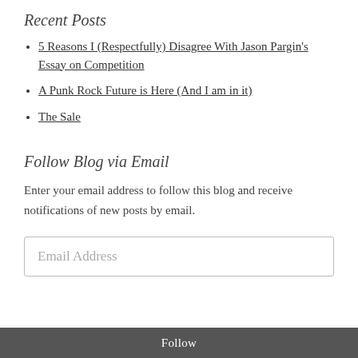Recent Posts
5 Reasons I (Respectfully) Disagree With Jason Pargin's Essay on Competition
A Punk Rock Future is Here (And I am in it)
The Sale
Follow Blog via Email
Enter your email address to follow this blog and receive notifications of new posts by email.
Email Address
Follow